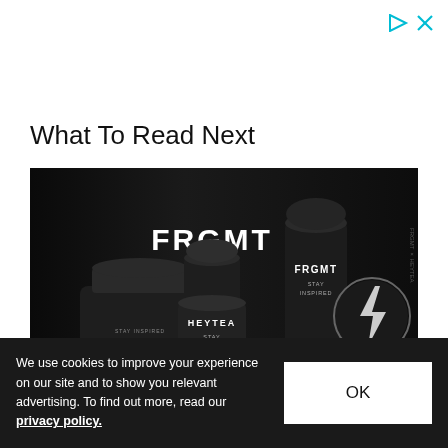[Figure (other): Ad icon area with play and close buttons in teal/cyan color in top right corner]
What To Read Next
[Figure (photo): Black and white product photo showing FRGMT x HEYTEA branded merchandise including cups and containers with FRGMT, HEYTEA, and STAY INSPIRED text, and a lightning bolt logo]
We use cookies to improve your experience on our site and to show you relevant advertising. To find out more, read our privacy policy.